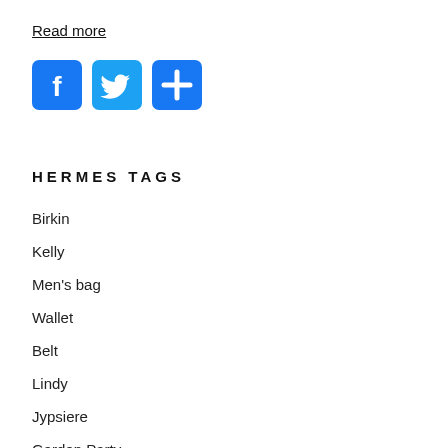Read more
[Figure (other): Social media share buttons: Facebook (blue f icon), Twitter (blue bird icon), and a blue plus/share icon]
HERMES TAGS
Birkin
Kelly
Men's bag
Wallet
Belt
Lindy
Jypsiere
Garden Party
PARIS BOMBAY
Shoulder Bag